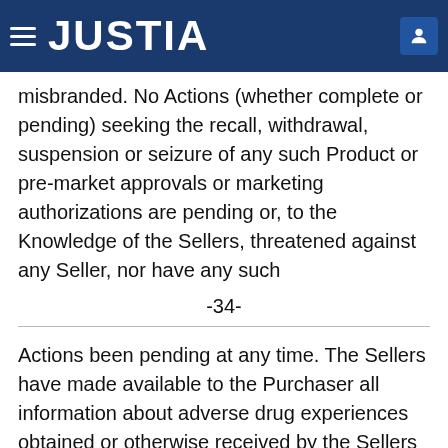JUSTIA
misbranded. No Actions (whether complete or pending) seeking the recall, withdrawal, suspension or seizure of any such Product or pre-market approvals or marketing authorizations are pending or, to the Knowledge of the Sellers, threatened against any Seller, nor have any such
-34-
Actions been pending at any time. The Sellers have made available to the Purchaser all information about adverse drug experiences obtained or otherwise received by the Sellers from any source, in the United States or outside of the United States as of the date hereof, including information derived from clinical